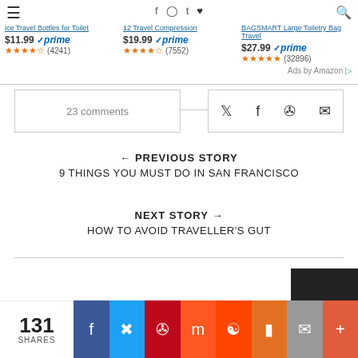[Figure (screenshot): Amazon product ads showing three travel products with prices: $11.99 prime (4241 reviews), $19.99 prime (7552 reviews), $27.99 prime (32896 reviews). Social sharing icons and search icon in the top bar.]
23 comments
← PREVIOUS STORY
9 THINGS YOU MUST DO IN SAN FRANCISCO
NEXT STORY →
HOW TO AVOID TRAVELLER'S GUT
131 SHARES